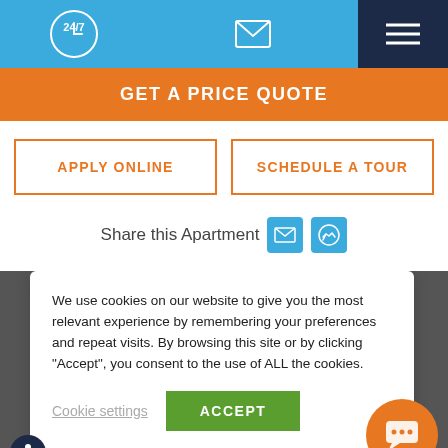[Figure (screenshot): Top navigation bar with 24/7 icon, email icon, and hamburger menu on dark blue background]
GET A PRICE QUOTE
APPLY ONLINE
SCHEDULE A TOUR
Share this Apartment
We use cookies on our website to give you the most relevant experience by remembering your preferences and repeat visits. By browsing this site or by clicking "Accept", you consent to the use of ALL the cookies.
Cookie settings
ACCEPT